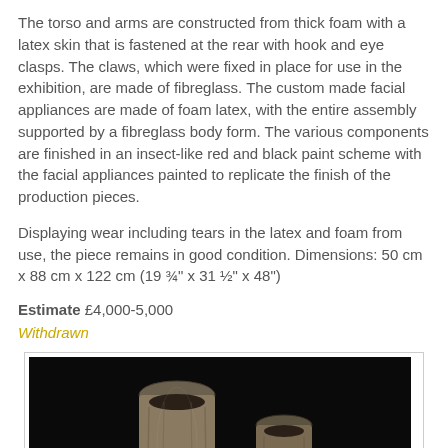The torso and arms are constructed from thick foam with a latex skin that is fastened at the rear with hook and eye clasps. The claws, which were fixed in place for use in the exhibition, are made of fibreglass. The custom made facial appliances are made of foam latex, with the entire assembly supported by a fibreglass body form. The various components are finished in an insect-like red and black paint scheme with the facial appliances painted to replicate the finish of the production pieces.
Displaying wear including tears in the latex and foam from use, the piece remains in good condition. Dimensions: 50 cm x 88 cm x 122 cm (19 ¾" x 31 ½" x 48")
Estimate £4,000-5,000
Withdrawn
[Figure (photo): Dark background photograph showing two cylindrical foam/latex arm or leg components standing upright, appearing worn and textured, in a dark studio setting.]